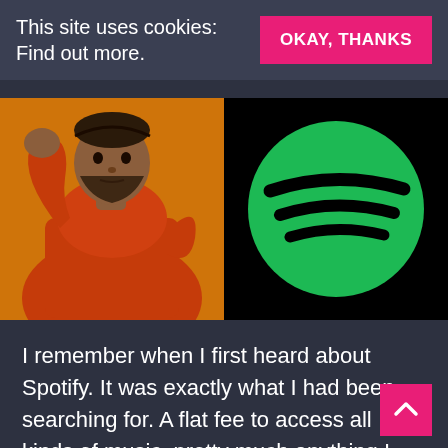This site uses cookies: Find out more.
[Figure (illustration): Drake meme - man in orange hoodie with hand raised in a dismissive gesture, yellow background]
[Figure (logo): Spotify logo - green circle with three curved black sound waves on black background]
I remember when I first heard about Spotify. It was exactly what I had been searching for. A flat fee to access all kinds of music, pretty much anything I could think of. I remember diving in shortly after it launched and since then I have happily paid the Premium subscription for a service that I've used almost every day. That all changed just over a week